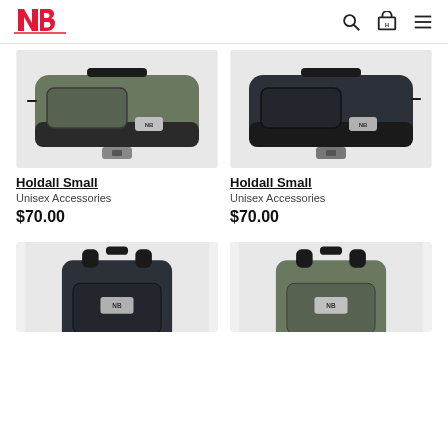[Figure (logo): New Balance red NB logo]
[Figure (screenshot): Search icon, cart icon, and hamburger menu icon in header]
[Figure (photo): Olive/khaki colored New Balance Holdall Small duffel bag]
Holdall Small
Unisex Accessories
$70.00
[Figure (photo): Black New Balance Holdall Small duffel bag]
Holdall Small
Unisex Accessories
$70.00
[Figure (photo): Black New Balance backpack, partially visible]
[Figure (photo): Olive/khaki New Balance backpack, partially visible]